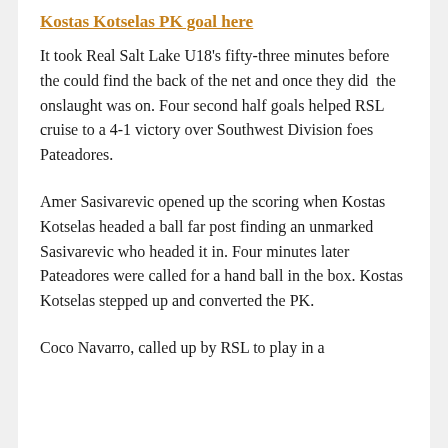Kostas Kotselas PK goal here
It took Real Salt Lake U18's fifty-three minutes before the could find the back of the net and once they did  the onslaught was on. Four second half goals helped RSL cruise to a 4-1 victory over Southwest Division foes Pateadores.
Amer Sasivarevic opened up the scoring when Kostas Kotselas headed a ball far post finding an unmarked Sasivarevic who headed it in. Four minutes later Pateadores were called for a hand ball in the box. Kostas Kotselas stepped up and converted the PK.
Coco Navarro, called up by RSL to play in a